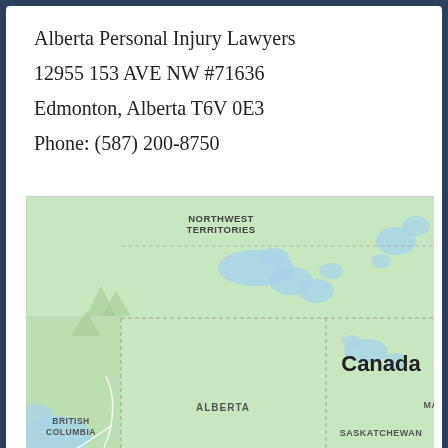Alberta Personal Injury Lawyers
12955 153 AVE NW #71636
Edmonton, Alberta T6V 0E3
Phone: (587) 200-8750
[Figure (map): Map showing western Canada including Northwest Territories, British Columbia, Alberta, Saskatchewan, and part of Manitoba. Labels for Canada, Alberta, British Columbia, Saskatchewan, Northwest Territories, and MA (Manitoba) visible.]